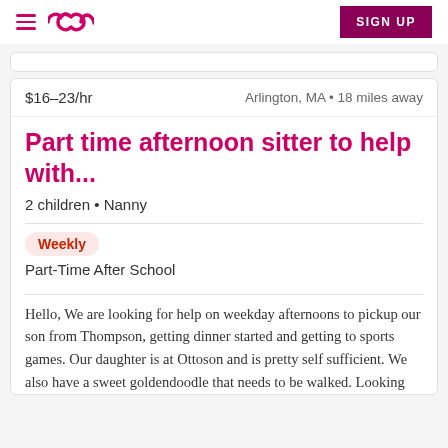Care.com navigation header with hamburger menu, logo, and SIGN UP button
$16–23/hr   Arlington, MA • 18 miles away
Part time afternoon sitter to help with...
2 children • Nanny
Weekly
Part-Time After School
Hello, We are looking for help on weekday afternoons to pickup our son from Thompson, getting dinner started and getting to sports games. Our daughter is at Ottoson and is pretty self sufficient. We also have a sweet goldendoodle that needs to be walked. Looking